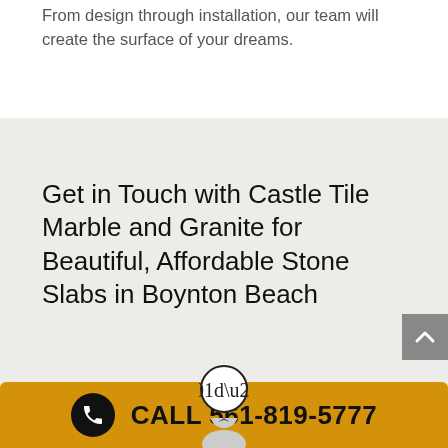From design through installation, our team will create the surface of your dreams.
Get in Touch with Castle Tile Marble and Granite for Beautiful, Affordable Stone Slabs in Boynton Beach
[Figure (other): Quotation mark circle icon with double closing quotation marks]
[Figure (other): White card area with profile/person icon partially visible]
CALL 561-819-5777